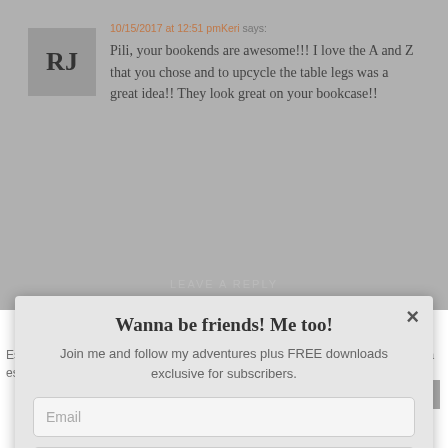10/15/2017 at 12:51 pm Keri says:
Pili, your bookends are awesome!!! I love the A and Z that you chose and to upcycle the table legs was a great idea!! They look great on your bookcase!!
Wanna be friends! Me too!
Join me and follow my adventures plus FREE downloads exclusive for subscribers.
Email
Name / Nombre
ENGLISH
SPANISH
SUBSCRIBE
Esta web usa cookies para mejorar su experiencia en la navegación. Si continua es que está de acuerdo con ello
Acepto
Mas